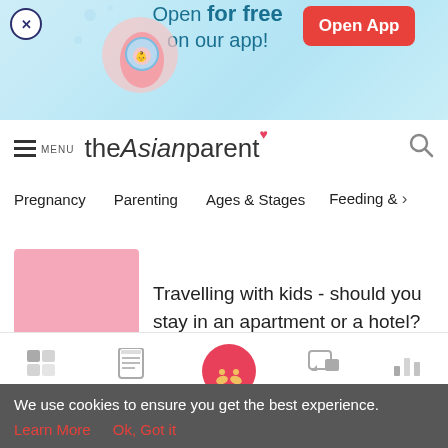[Figure (screenshot): App advertisement banner with illustration of pregnant woman and baby, light blue background. Text: Open for free on our app! with Open App button.]
theAsianparent
Pregnancy   Parenting   Ages & Stages   Feeding & >
Travelling with kids - should you stay in an apartment or a hotel?
Tools   Articles   Feed   Poll
We use cookies to ensure you get the best experience.
Learn More   Ok, Got it